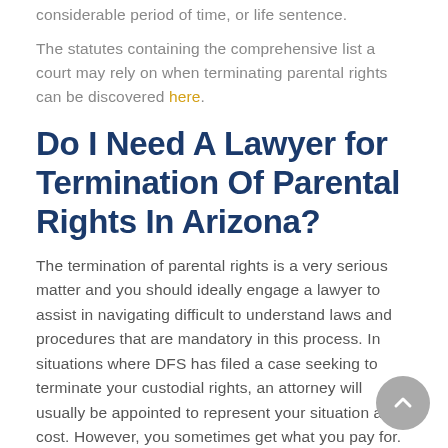considerable period of time, or life sentence.
The statutes containing the comprehensive list a court may rely on when terminating parental rights can be discovered here.
Do I Need A Lawyer for Termination Of Parental Rights In Arizona?
The termination of parental rights is a very serious matter and you should ideally engage a lawyer to assist in navigating difficult to understand laws and procedures that are mandatory in this process. In situations where DFS has filed a case seeking to terminate your custodial rights, an attorney will usually be appointed to represent your situation at no cost. However, you sometimes get what you pay for.  In circumstances where the other parent has decided to file a case against you, you should seriously think about getting a qualified and experienced